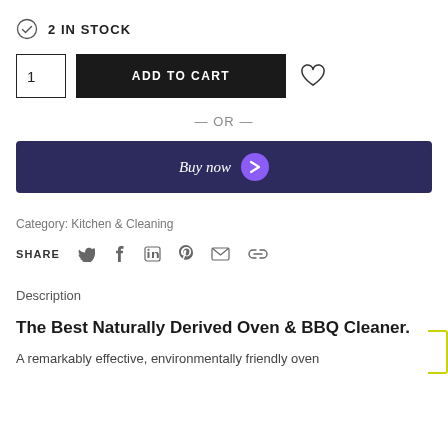2 IN STOCK
[Figure (screenshot): Add to cart button with quantity selector (1) and heart/wishlist icon]
— OR —
[Figure (screenshot): Buy now button with purple arrow icon on dark navy background]
Category: Kitchen & Cleaning
SHARE with social icons: Twitter, Facebook, LinkedIn, Pinterest, Email, Link
Description
The Best Naturally Derived Oven & BBQ Cleaner.
A remarkably effective, environmentally friendly oven